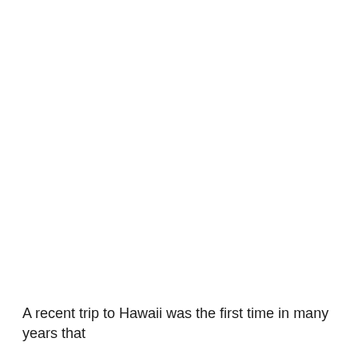A recent trip to Hawaii was the first time in many years that